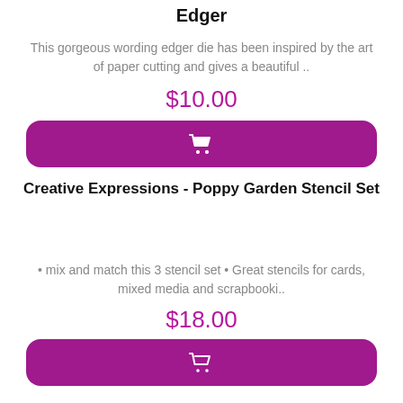Edger
This gorgeous wording edger die has been inspired by the art of paper cutting and gives a beautiful ..
$10.00
[Figure (other): Purple add to cart button with shopping cart icon]
Creative Expressions - Poppy Garden Stencil Set
• mix and match this 3 stencil set • Great stencils for cards, mixed media and scrapbooki..
$18.00
[Figure (other): Purple add to cart button with shopping cart icon]